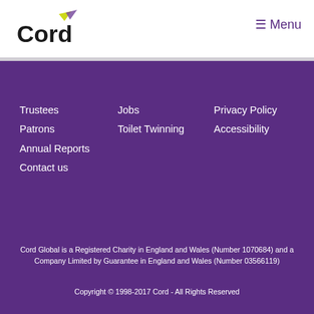[Figure (logo): Cord logo with stylized text and leaf/bird graphic in yellow-green and purple]
≡ Menu
Trustees
Patrons
Annual Reports
Contact us
Jobs
Toilet Twinning
Privacy Policy
Accessibility
Cord Global is a Registered Charity in England and Wales (Number 1070684) and a Company Limited by Guarantee in England and Wales (Number 03566119)
Copyright © 1998-2017 Cord - All Rights Reserved